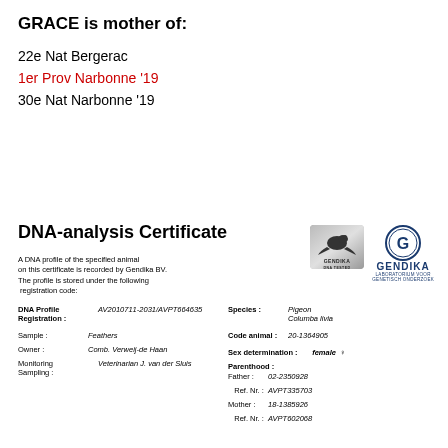GRACE is mother of:
22e Nat Bergerac
1er Prov Narbonne '19
30e Nat Narbonne '19
DNA-analysis Certificate
A DNA profile of the specified animal on this certificate is recorded by Gendika BV. The profile is stored under the following registration code:
| DNA Profile Registration : | AV2010711-2031/AVPT664635 |
| Sample : | Feathers |
| Owner : | Comb. Verweij-de Haan |
| Monitoring Sampling : | Veterinarian J. van der Sluis |
| Species : | Pigeon / Columba livia |
| Code animal : | 20-1364905 |
| Sex determination : | female ♀ |
| Parenthood : |  |
| Father : | 02-2350928 |
| Ref. Nr. : | AVPT335703 |
| Mother : | 18-1385926 |
| Ref. Nr. : | AVPT602068 |